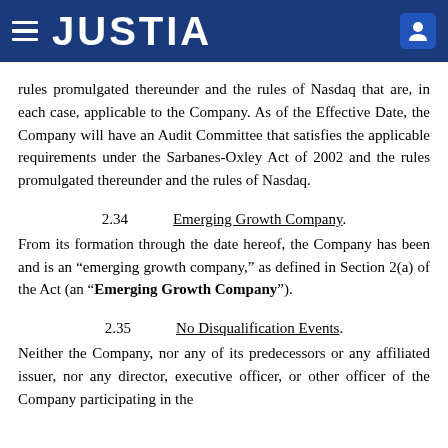JUSTIA
rules promulgated thereunder and the rules of Nasdaq that are, in each case, applicable to the Company. As of the Effective Date, the Company will have an Audit Committee that satisfies the applicable requirements under the Sarbanes-Oxley Act of 2002 and the rules promulgated thereunder and the rules of Nasdaq.
2.34   Emerging Growth Company.
From its formation through the date hereof, the Company has been and is an “emerging growth company,” as defined in Section 2(a) of the Act (an “Emerging Growth Company”).
2.35   No Disqualification Events.
Neither the Company, nor any of its predecessors or any affiliated issuer, nor any director, executive officer, or other officer of the Company participating in the